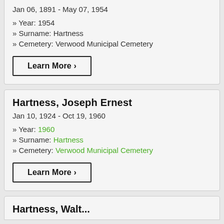Jan 06, 1891 - May 07, 1954
» Year: 1954
» Surname: Hartness
» Cemetery: Verwood Municipal Cemetery
Learn More >
Hartness, Joseph Ernest
Jan 10, 1924 - Oct 19, 1960
» Year: 1960
» Surname: Hartness
» Cemetery: Verwood Municipal Cemetery
Learn More >